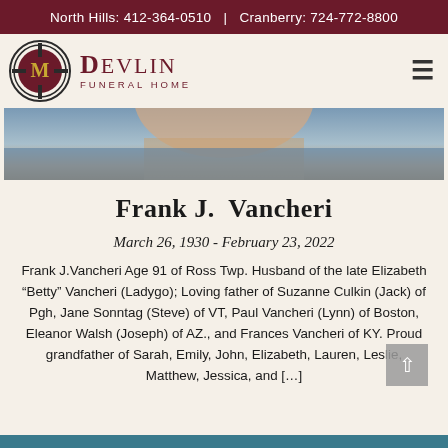North Hills: 412-364-0510  |  Cranberry: 724-772-8800
[Figure (logo): Devlin Funeral Home logo with circular emblem and text]
[Figure (photo): Close-up photo of a person, cropped showing chin/neck area with blue clothing]
Frank J. Vancheri
March 26, 1930 - February 23, 2022
Frank J.Vancheri Age 91 of Ross Twp. Husband of the late Elizabeth "Betty" Vancheri (Ladygo); Loving father of Suzanne Culkin (Jack) of Pgh, Jane Sonntag (Steve) of VT, Paul Vancheri (Lynn) of Boston, Eleanor Walsh (Joseph) of AZ., and Frances Vancheri of KY. Proud grandfather of Sarah, Emily, John, Elizabeth, Lauren, Leslie, Matthew, Jessica, and [...]